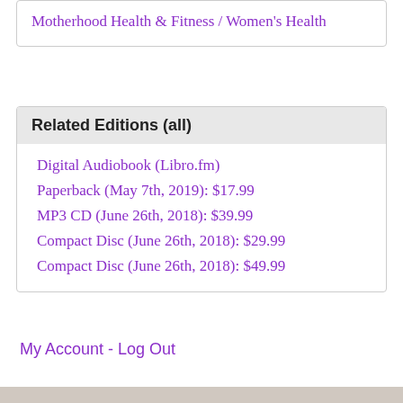Motherhood
Health & Fitness / Women's Health
Related Editions (all)
Digital Audiobook (Libro.fm)
Paperback (May 7th, 2019): $17.99
MP3 CD (June 26th, 2018): $39.99
Compact Disc (June 26th, 2018): $29.99
Compact Disc (June 26th, 2018): $49.99
My Account - Log Out